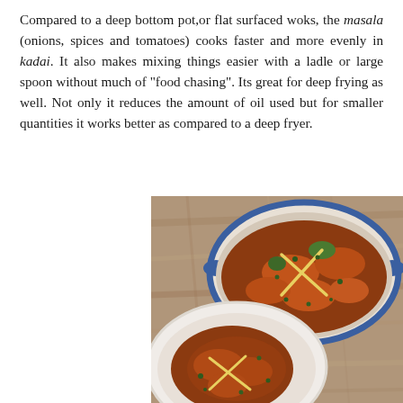Compared to a deep bottom pot,or flat surfaced woks, the masala (onions, spices and tomatoes) cooks faster and more evenly in kadai. It also makes mixing things easier with a ladle or large spoon without much of "food chasing". Its great for deep frying as well. Not only it reduces the amount of oil used but for smaller quantities it works better as compared to a deep fryer.
[Figure (photo): Overhead view of a blue/white oval kadai pot filled with chicken curry garnished with julienned ginger and fresh herbs, alongside a white plate with a serving of the same curry on a wooden surface.]